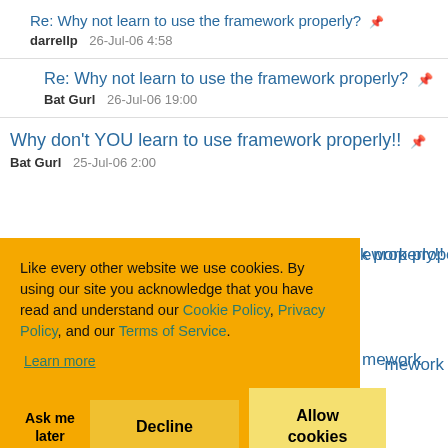Re: Why not learn to use the framework properly? darrellp 26-Jul-06 4:58
Re: Why not learn to use the framework properly? Bat Gurl 26-Jul-06 19:00
Why don't YOU learn to use framework properly!! Bat Gurl 25-Jul-06 2:00
Like every other website we use cookies. By using our site you acknowledge that you have read and understand our Cookie Policy, Privacy Policy, and our Terms of Service. Learn more
...ework properly!!
...mework properly!!